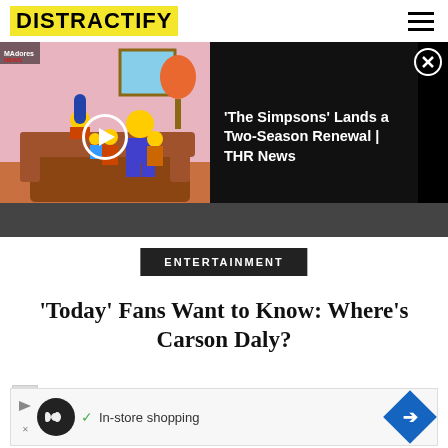DISTRACTIFY
[Figure (screenshot): Video player showing The Simpsons family on couch scene with play button overlay, and text panel showing 'The Simpsons' Lands a Two-Season Renewal | THR News on black background with close button]
ENTERTAINMENT
'Today' Fans Want to Know: Where's Carson Daly?
[Figure (photo): Small thumbnail image placeholder]
Savannah Guthrie, Hoda Kotb
[Figure (other): Advertisement banner: In-store shopping with play icon, infinity icon, checkmark, and blue diamond arrow icon]